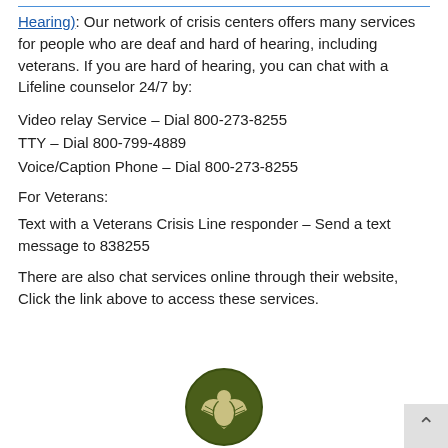Hearing): Our network of crisis centers offers many services for people who are deaf and hard of hearing, including veterans. If you are hard of hearing, you can chat with a Lifeline counselor 24/7 by:
Video relay Service – Dial 800-273-8255
TTY – Dial 800-799-4889
Voice/Caption Phone – Dial 800-273-8255
For Veterans:
Text with a Veterans Crisis Line responder – Send a text message to 838255
There are also chat services online through their website, Click the link above to access these services.
[Figure (logo): Dark olive green circular logo with an eagle/bird icon in the center, partially visible at the bottom of the page]